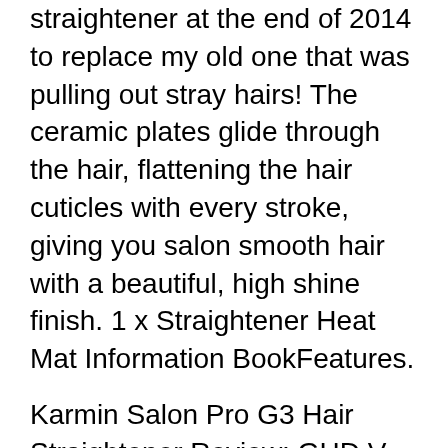straightener at the end of 2014 to replace my old one that was pulling out stray hairs! The ceramic plates glide through the hair, flattening the hair cuticles with every stroke, giving you salon smooth hair with a beautiful, high shine finish. 1 x Straightener Heat Mat Information BookFeatures.
Karmin Salon Pro G3 Hair Straightener Review; GHD V Gold Max Styler Review; Remington S9600 Silk Straightener Review; Remington S8500 Moroccan Oil Shine Therapy Straightener Review; Remington S7200 Wet 2 Straight Straightener Review; BaByliss 2069U Pro Ceramic 230 Hair Straightener Review; Remington S3500 Ceramic...